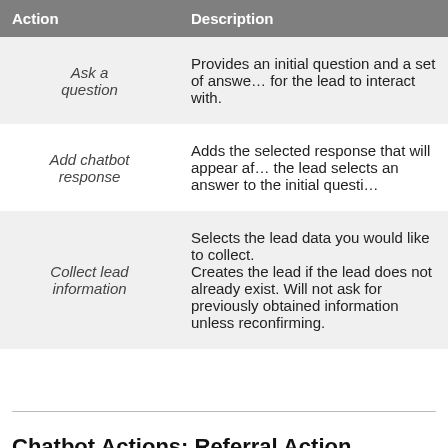| Action | Description |
| --- | --- |
| Ask a question | Provides an initial question and a set of answers for the lead to interact with. |
| Add chatbot response | Adds the selected response that will appear after the lead selects an answer to the initial question. |
| Collect lead information | Selects the lead data you would like to collect. Creates the lead if the lead does not already exist. Will not ask for previously obtained information unless reconfirming. |
Chatbot Actions: Referral Action